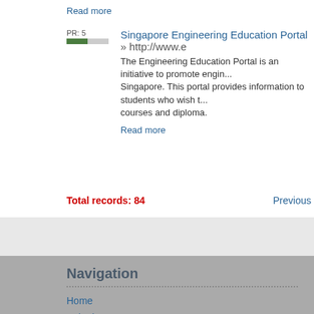Read more
Singapore Engineering Education Portal » http://www.e... The Engineering Education Portal is an initiative to promote engin... Singapore. This portal provides information to students who wish ... courses and diploma.
Read more
Total records: 84
Previous
Navigation
Home
Submit
Submit Article
Advertise
Advertising R
Blog Advertising
Business Advertising